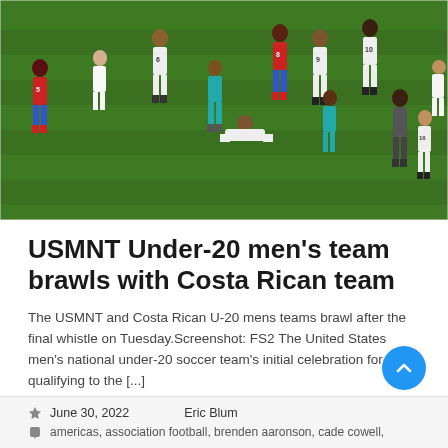[Figure (photo): Soccer brawl scene on a grass field — USMNT Under-20 and Costa Rican players in altercation after the final whistle. Players in white and red/blue uniforms, jersey numbers visible including 5, 6, 8, 9, 10, 16. Several players on the ground, referees/officials nearby.]
USMNT Under-20 men’s team brawls with Costa Rican team
The USMNT and Costa Rican U-20 mens teams brawl after the final whistle on Tuesday.Screenshot: FS2 The United States men’s national under-20 soccer team’s initial celebration for qualifying to the [...]
June 30, 2022   Eric Blum
americas, association football, brenden aaronson, cade cowell,